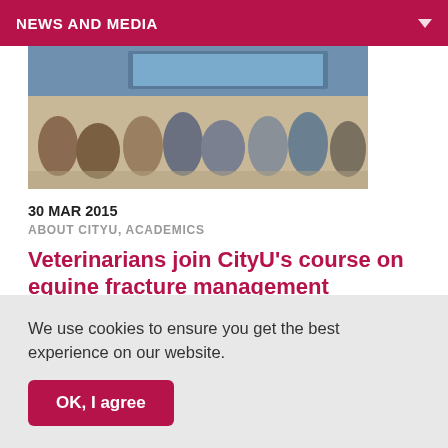NEWS AND MEDIA
[Figure (photo): Conference or lecture room with approximately 40 people seated, looking toward a presentation screen]
30 MAR 2015
ABOUT CITYU, ACADEMICS
Veterinarians join CityU's course on equine fracture management
Nearly 40 veterinarians learned about new developments
We use cookies to ensure you get the best experience on our website.
OK, I agree